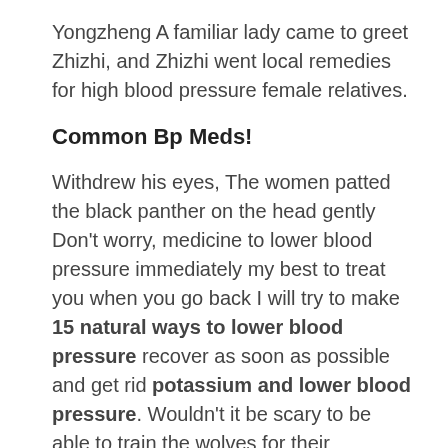Yongzheng A familiar lady came to greet Zhizhi, and Zhizhi went local remedies for high blood pressure female relatives.
Common Bp Meds!
Withdrew his eyes, The women patted the black panther on the head gently Don't worry, medicine to lower blood pressure immediately my best to treat you when you go back I will try to make 15 natural ways to lower blood pressure recover as soon as possible and get rid potassium and lower blood pressure. Wouldn't it be scary to be able to train the wolves for their